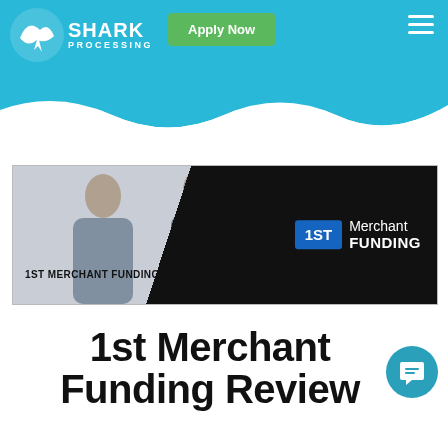Shark Processing — Apply Now
[Figure (screenshot): 1st Merchant Funding Overview banner with people in background and 1ST Merchant Funding logo on dark diagonal right side]
1st Merchant Funding Review